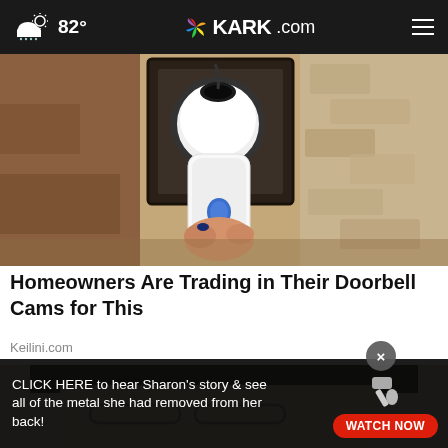82° KARK.com
[Figure (photo): A hand installing or adjusting a white doorbell camera mounted under a dark metal lantern-style light fixture on a rough stone/stucco wall.]
Homeowners Are Trading in Their Doorbell Cams for This
Keilini.com
[Figure (photo): Partial close-up photo of a woman with dark hair and glasses, shown from the nose down.]
CLICK HERE to hear Sharon's story & see all of the metal she had removed from her back! WATCH NOW